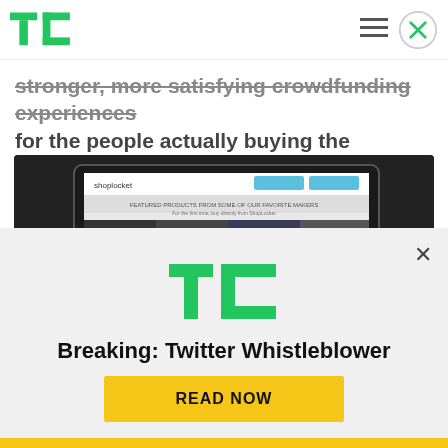TechCrunch header with logo, hamburger menu, and close button
stronger, more satisfying crowdfunding experiences for the people actually buying the products.
[Figure (screenshot): Screenshot of Shoplocket website displayed on a tablet/laptop, showing a grid of crowdfunded products including a camera, wearable devices, and other gadgets on a dark background]
[Figure (logo): TechCrunch TC logo in green]
Breaking: Twitter Whistleblower
READ NOW